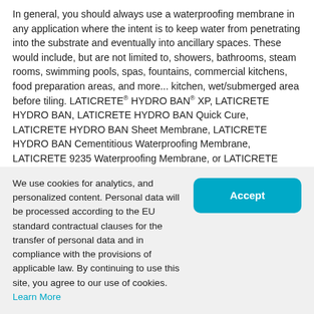In general, you should always use a waterproofing membrane in any application where the intent is to keep water from penetrating into the substrate and eventually into ancillary spaces. These would include, but are not limited to, showers, bathrooms, steam rooms, swimming pools, spas, fountains, commercial kitchens, food preparation areas, and more... kitchen, wet/submerged area before tiling. LATICRETE® HYDRO BAN® XP, LATICRETE HYDRO BAN, LATICRETE HYDRO BAN Quick Cure, LATICRETE HYDRO BAN Sheet Membrane, LATICRETE HYDRO BAN Cementitious Waterproofing Membrane, LATICRETE 9235 Waterproofing Membrane, or LATICRETE HYDRO BARRIER™ Plus are ideal based on the suitability of the membrane for a particular application. For more information, please refer to the specific membrane
We use cookies for analytics, and personalized content. Personal data will be processed according to the EU standard contractual clauses for the transfer of personal data and in compliance with the provisions of applicable law. By continuing to use this site, you agree to our use of cookies. Learn More